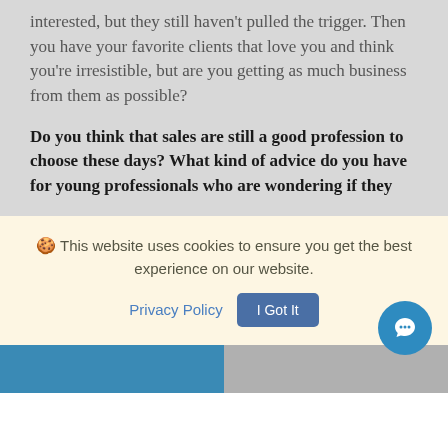interested, but they still haven't pulled the trigger. Then you have your favorite clients that love you and think you're irresistible, but are you getting as much business from them as possible?
Do you think that sales are still a good profession to choose these days? What kind of advice do you have for young professionals who are wondering if they
🍪 This website uses cookies to ensure you get the best experience on our website.
Privacy Policy | I Got It
[Figure (photo): Bottom strip showing partial photos of two people, one on each side]